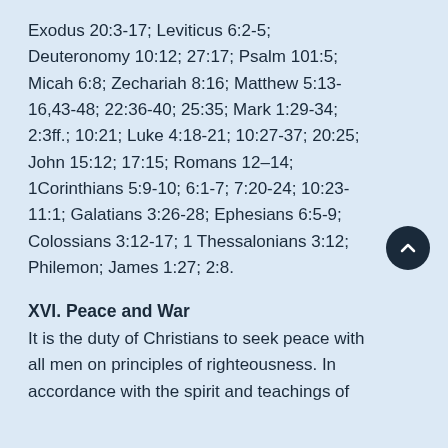Exodus 20:3-17; Leviticus 6:2-5; Deuteronomy 10:12; 27:17; Psalm 101:5; Micah 6:8; Zechariah 8:16; Matthew 5:13-16,43-48; 22:36-40; 25:35; Mark 1:29-34; 2:3ff.; 10:21; Luke 4:18-21; 10:27-37; 20:25; John 15:12; 17:15; Romans 12–14; 1Corinthians 5:9-10; 6:1-7; 7:20-24; 10:23-11:1; Galatians 3:26-28; Ephesians 6:5-9; Colossians 3:12-17; 1 Thessalonians 3:12; Philemon; James 1:27; 2:8.
XVI. Peace and War
It is the duty of Christians to seek peace with all men on principles of righteousness. In accordance with the spirit and teachings of